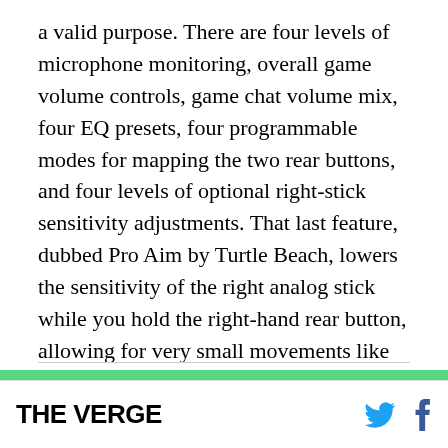a valid purpose. There are four levels of microphone monitoring, overall game volume controls, game chat volume mix, four EQ presets, four programmable modes for mapping the two rear buttons, and four levels of optional right-stick sensitivity adjustments. That last feature, dubbed Pro Aim by Turtle Beach, lowers the sensitivity of the right analog stick while you hold the right-hand rear button, allowing for very small movements like sniping, though it's a bit clumsy to use.
[Figure (photo): Close-up photo of a dark gaming controller against a bright green background, showing the top edge of the device]
THE VERGE